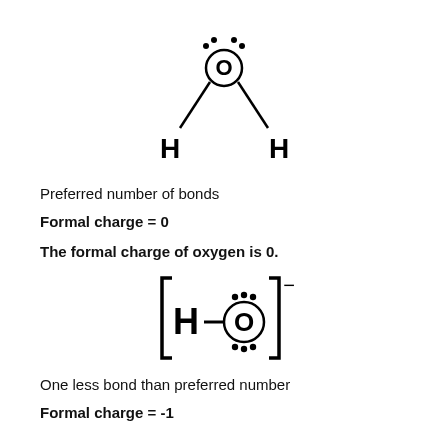[Figure (illustration): Lewis structure of water (H2O): oxygen atom in the center with two lone pairs of electrons (dots) shown above it, and two H atoms connected by dashed bond lines on lower left and lower right.]
Preferred number of bonds
Formal charge = 0
The formal charge of oxygen is 0.
[Figure (illustration): Lewis structure of hydroxide ion [H-O:]^- : H on the left connected by a single bond to O, oxygen has two lone pairs (dots above and below), enclosed in square brackets with a superscript minus sign.]
One less bond than preferred number
Formal charge = -1